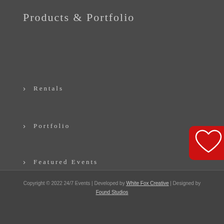Products & Portfolio
› Rentals
› Portfolio
› Featured Events
[Figure (illustration): Red rounded rectangle button with a white outlined heart icon, partially visible at right edge of page]
Copyright © 2022 24/7 Events | Developed by White Fox Creative | Designed by Found Studios